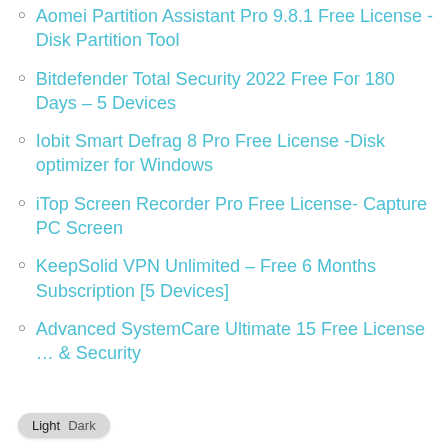Aomei Partition Assistant Pro 9.8.1 Free License -Disk Partition Tool
Bitdefender Total Security 2022 Free For 180 Days – 5 Devices
Iobit Smart Defrag 8 Pro Free License -Disk optimizer for Windows
iTop Screen Recorder Pro Free License- Capture PC Screen
KeepSolid VPN Unlimited – Free 6 Months Subscription [5 Devices]
Advanced SystemCare Ultimate 15 Free License … & Security